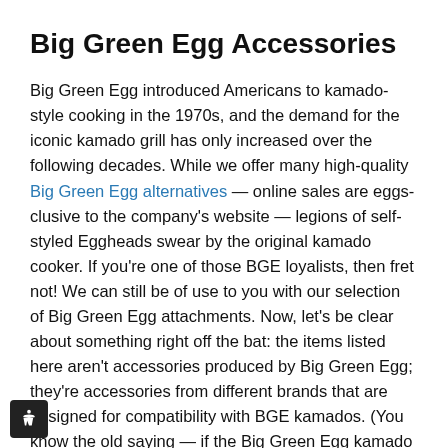Big Green Egg Accessories
Big Green Egg introduced Americans to kamado-style cooking in the 1970s, and the demand for the iconic kamado grill has only increased over the following decades. While we offer many high-quality Big Green Egg alternatives — online sales are eggs-clusive to the company's website — legions of self-styled Eggheads swear by the original kamado cooker. If you're one of those BGE loyalists, then fret not! We can still be of use to you with our selection of Big Green Egg attachments. Now, let's be clear about something right off the bat: the items listed here aren't accessories produced by Big Green Egg; they're accessories from different brands that are designed for compatibility with BGE kamados. (You know the old saying — if the Big Green Egg kamado accessory s, use it!)